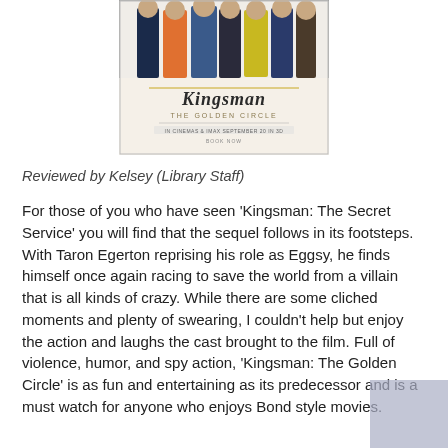[Figure (photo): Movie poster for Kingsman: The Golden Circle showing cast members in suits. Text reads 'Kingsman THE GOLDEN CIRCLE' and 'IN CINEMAS & IMAX SEPTEMBER 20 IN 3D BOOK NOW']
Reviewed by Kelsey (Library Staff)
For those of you who have seen 'Kingsman: The Secret Service' you will find that the sequel follows in its footsteps. With Taron Egerton reprising his role as Eggsy, he finds himself once again racing to save the world from a villain that is all kinds of crazy. While there are some cliched moments and plenty of swearing, I couldn't help but enjoy the action and laughs the cast brought to the film. Full of violence, humor, and spy action, 'Kingsman: The Golden Circle' is as fun and entertaining as its predecessor and is a must watch for anyone who enjoys Bond style movies.